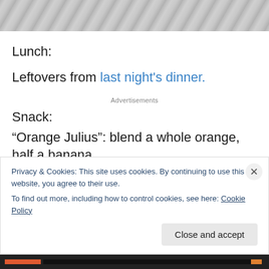[Figure (photo): Partial photo of a textured gray/white surface, cropped at top of page.]
Lunch:
Leftovers from last night's dinner.
Advertisements
Snack:
“Orange Julius”: blend a whole orange, half a banana, coconut milk, a spoonful of coconut oil, vanilla, spoonful of
Privacy & Cookies: This site uses cookies. By continuing to use this website, you agree to their use.
To find out more, including how to control cookies, see here: Cookie Policy